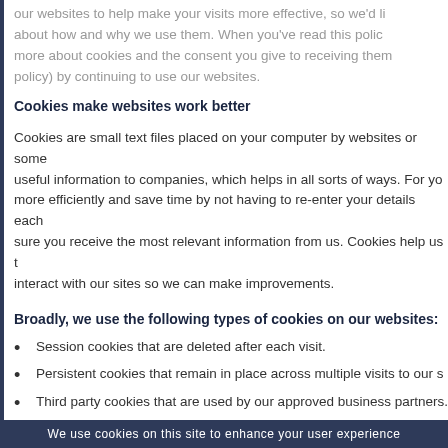our websites to help make your visits more effective, so we'd like to tell you about how and why we use them. When you've read this policy, you'll know more about cookies and the consent you give to receiving them (or changing that policy) by continuing to use our websites.
Cookies make websites work better
Cookies are small text files placed on your computer by websites or some emails. They provide useful information to companies, which helps in all sorts of ways. For you, they let you use sites more efficiently and save time by not having to re-enter your details each visit. They help make sure you receive the most relevant information from us. Cookies help us to understand how people interact with our sites so we can make improvements.
Broadly, we use the following types of cookies on our websites:
Session cookies that are deleted after each visit.
Persistent cookies that remain in place across multiple visits to our sites.
Third party cookies that are used by our approved business partners.
Some of these cookies are essential and some are optional
We use cookies on this site to enhance your user experience